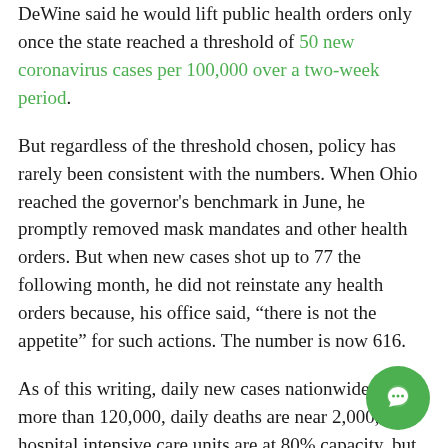DeWine said he would lift public health orders only once the state reached a threshold of 50 new coronavirus cases per 100,000 over a two-week period.
But regardless of the threshold chosen, policy has rarely been consistent with the numbers. When Ohio reached the governor's benchmark in June, he promptly removed mask mandates and other health orders. But when new cases shot up to 77 the following month, he did not reinstate any health orders because, his office said, “there is not the appetite” for such actions. The number is now 616.
As of this writing, daily new cases nationwide are more than 120,000, daily deaths are near 2,000, and hospital intensive care units are at 80% capacity, but only 20% of states have any kind of mask manda… “We’re all over the map,” said Monica Gandhi, a… infectious disease physician at the University of